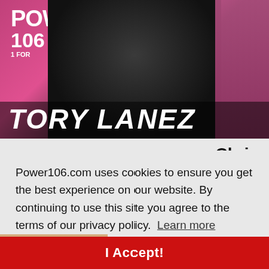[Figure (photo): Tory Lanez at Power 106 radio station, smiling and holding hands up showing jewelry rings, with microphones in front, pink Power 106 backdrop visible. 'TORY LANEZ' in large bold italic white text at bottom of image.]
Chris
ently
d...
Power106.com uses cookies to ensure you get the best experience on our website. By continuing to use this site you agree to the terms of our privacy policy.  Learn more
I Accept!